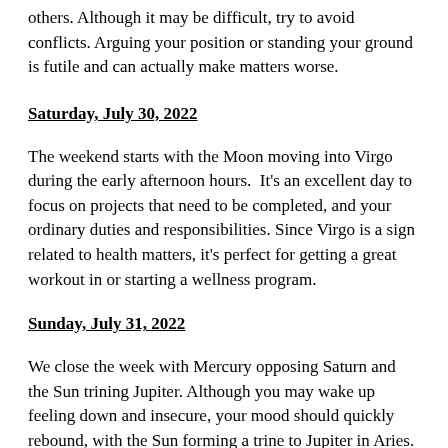others. Although it may be difficult, try to avoid conflicts. Arguing your position or standing your ground is futile and can actually make matters worse.
Saturday, July 30, 2022
The weekend starts with the Moon moving into Virgo during the early afternoon hours.  It's an excellent day to focus on projects that need to be completed, and your ordinary duties and responsibilities. Since Virgo is a sign related to health matters, it's perfect for getting a great workout in or starting a wellness program.
Sunday, July 31, 2022
We close the week with Mercury opposing Saturn and the Sun trining Jupiter. Although you may wake up feeling down and insecure, your mood should quickly rebound, with the Sun forming a trine to Jupiter in Aries. It's an excellent day to